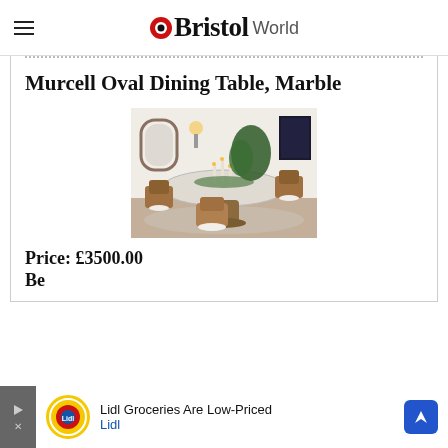Bristol World
Murcell Oval Dining Table, Marble
[Figure (photo): A styled dining room with an oval marble-top table surrounded by mid-century modern wooden chairs, candles, greenery, and decorative objects in a neutral-toned room.]
Price: £3500.00
Be...
Lidl Groceries Are Low-Priced — Lidl